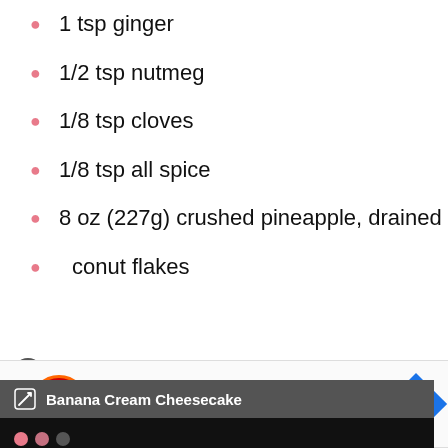1 tsp ginger
1/2 tsp nutmeg
1/8 tsp cloves
1/8 tsp all spice
8 oz (227g) crushed pineapple, drained
... coconut flakes
[Figure (screenshot): Video player popup overlay with title 'Banana Cream Cheesecake' and error message 'This video file cannot be played. (Error Code: 2 24003)']
FROSTING
... room
... pping cream,
[Figure (screenshot): Ad banner for Dairy Queen: Ashburn OPEN 11AM-10PM, 44050 Ashburn Shopping Plz ...]